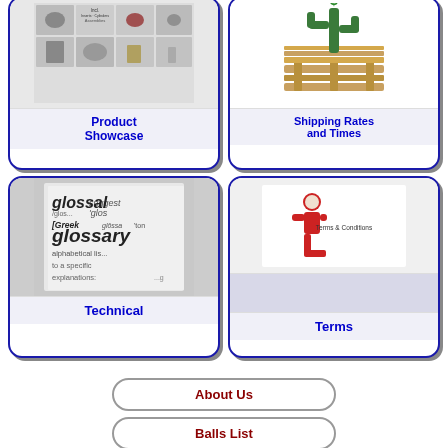[Figure (screenshot): Product Showcase card with product images grid thumbnail on top]
[Figure (illustration): Shipping Rates and Times card with pallet and cactus illustration]
[Figure (screenshot): Technical card with glossary book image]
[Figure (illustration): Terms card with red figure and Terms & Conditions text]
About Us
Balls List